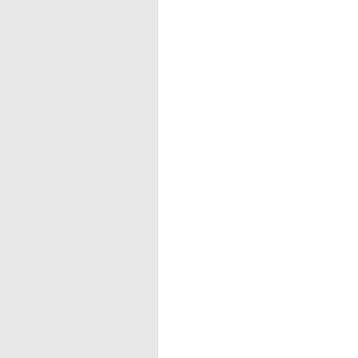ST36160000820  63 PS3 Picco Supe
ST36170000820  63 PS Picco Super
ST36900000081  23 RS Pro Rapid S
ST36906606000  Set of chain parts .
ST40007134204  Circular saw blade
ST40017133813  Grass cutting blade
ST40027104321  AutoCut Spool with
ST40028202300  PolyCut 28-2
ST40030071001  Deflector kit
ST40037102126  Mowing head PolyC
ST40037104310  AutoCut Spool with
ST40067102134  Mowing head PolyC
ST40097104305  Spool with nylon lin
ST41400074101  Service Kit 25 HS 4
ST41440074100  Service Kit 26 FS 4
ST41447901701  Handlebar
ST41470071021  Metal deflector kit
ST41470071023  Shredder blade kit
ST41472000360  FS 240 C-E Brushc
ST41472000372  FR 460 TC-EFM Ba
ST41472000376  FS 361 C-EM Clea
ST41472000389  FS 461 C-EM L Cle
ST41472000395  FS 461 C-EM Clea
ST41472000398  FS 411 C-EM Clea
ST41477108112  Deflector
ST41477108115  Deflector
ST41477108116  Deflector
ST41477901322  Control handle